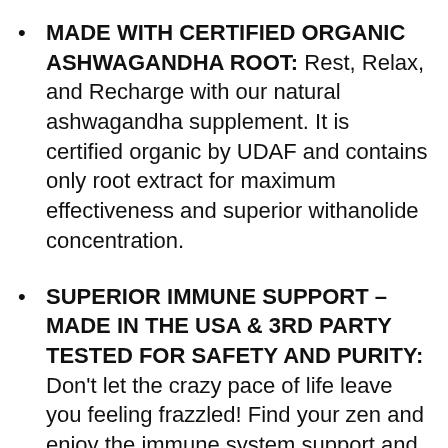MADE WITH CERTIFIED ORGANIC ASHWAGANDHA ROOT: Rest, Relax, and Recharge with our natural ashwagandha supplement. It is certified organic by UDAF and contains only root extract for maximum effectiveness and superior withanolide concentration.
SUPERIOR IMMUNE SUPPORT – MADE IN THE USA & 3RD PARTY TESTED FOR SAFETY AND PURITY: Don't let the crazy pace of life leave you feeling frazzled! Find your zen and enjoy the immune system support and vitality you've been searching for. Our Ashwagandha supplement is made in the USA and 3rd party tested for safety